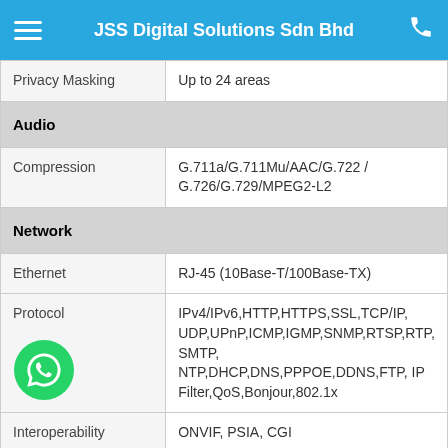JSS Digital Solutions Sdn Bhd
| Privacy Masking | Up to 24 areas |
| Audio |  |
| Compression | G.711a/G.711Mu/AAC/G.722 / G.726/G.729/MPEG2-L2 |
| Network |  |
| Ethernet | RJ-45 (10Base-T/100Base-TX) |
| Protocol | IPv4/IPv6,HTTP,HTTPS,SSL,TCP/IP, UDP,UPnP,ICMP,IGMP,SNMP,RTSP,RTP, SMTP, NTP,DHCP,DNS,PPPOE,DDNS,FTP, IP Filter,QoS,Bonjour,802.1x |
| Interoperability | ONVIF, PSIA, CGI |
| Streaming Method | Unicast / Multicast |
| Max. Access | 20 users |
| Edge Storage | NAS (Network Attached Storage),Local PC for inst |